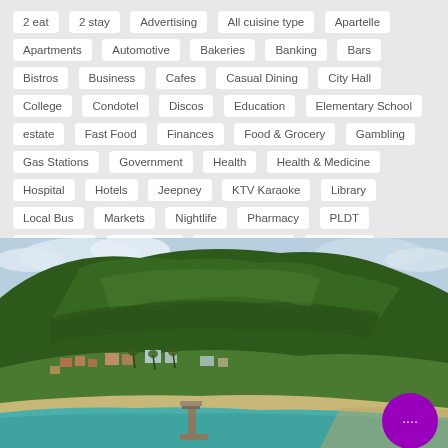2 eat
2 stay
Advertising
All cuisine type
Apartelle
Apartments
Automotive
Bakeries
Banking
Bars
Bistros
Business
Cafes
Casual Dining
City Hall
College
Condotel
Discos
Education
Elementary School
estate
Fast Food
Finances
Food & Grocery
Gambling
Gas Stations
Government
Health
Health & Medicine
Hospital
Hotels
Jeepney
KTV Karaoke
Library
Local Bus
Markets
Nightlife
Pharmacy
PLDT
Poker Clubs
Rent a Van
Retail Shopping
Shopping
Shopping Malls
Trikes
[Figure (photo): Aerial drone photo of a coastal Philippine town with a hill covered in green tropical vegetation, a sandy beach, pier/dock extending into turquoise water, and buildings/houses among palm trees.]